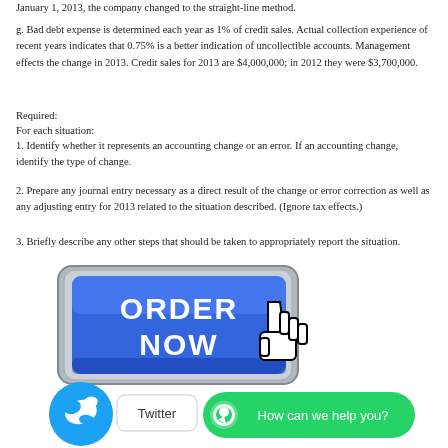January 1, 2013, the company changed to the straight-line method.
g. Bad debt expense is determined each year as 1% of credit sales. Actual collection experience of recent years indicates that 0.75% is a better indication of uncollectible accounts. Management effects the change in 2013. Credit sales for 2013 are $4,000,000; in 2012 they were $3,700,000.
Required:
For each situation:
1.  Identify whether it represents an accounting change or an error. If an accounting change, identify the type of change.
2.  Prepare any journal entry necessary as a direct result of the change or error correction as well as any adjusting entry for 2013 related to the situation described. (Ignore tax effects.)
3.  Briefly describe any other steps that should be taken to appropriately report the situation.
[Figure (illustration): ORDER NOW button with cursor hand pointer, Twitter bird icon with label, and WhatsApp 'How can we help you?' green button]